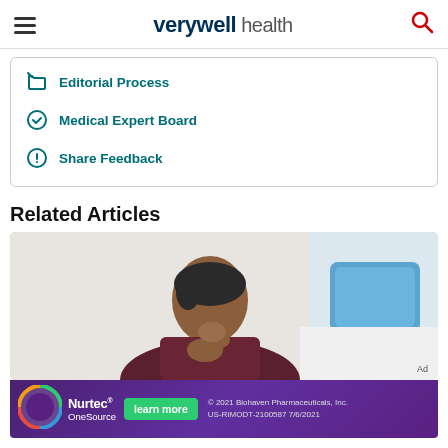verywell health
Editorial Process
Medical Expert Board
Share Feedback
Related Articles
[Figure (photo): Woman in dark red shirt sitting thoughtfully with hand on chin, in a bright white room with blue pillow in background]
[Figure (infographic): Nurtec OneSource advertisement banner: learn more button, © 2021 Biohaven Pharmaceuticals, Inc. US-RIMODT-2100587 7/6/2021]